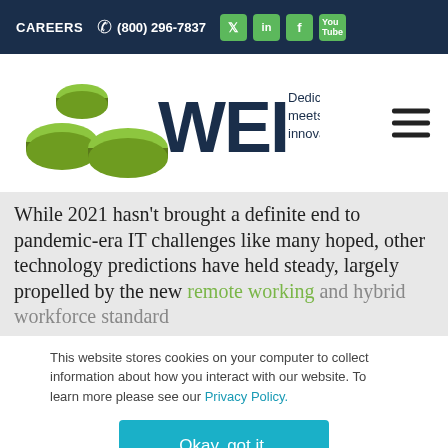CAREERS  (800) 296-7837
[Figure (logo): WEI logo with green coin/disc icons and tagline 'Dedication meets innovation.']
While 2021 hasn't brought a definite end to pandemic-era IT challenges like many hoped, other technology predictions have held steady, largely propelled by the new remote working and hybrid workforce standard
This website stores cookies on your computer to collect information about how you interact with our website. To learn more please see our Privacy Policy.
Okay, got it.